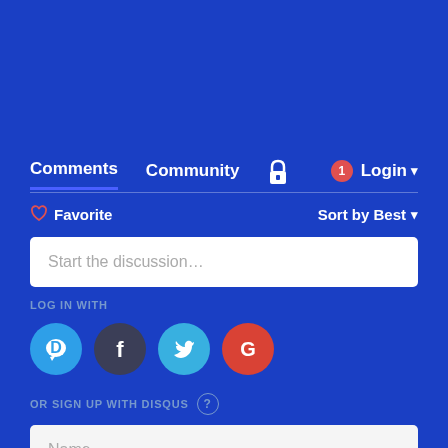[Figure (screenshot): Disqus comment widget UI on blue background showing nav tabs (Comments, Community, lock icon, notification badge, Login), Favorite and Sort by Best controls, Start the discussion text area, LOG IN WITH social icons (Disqus, Facebook, Twitter, Google), OR SIGN UP WITH DISQUS label with help icon, and Name input field.]